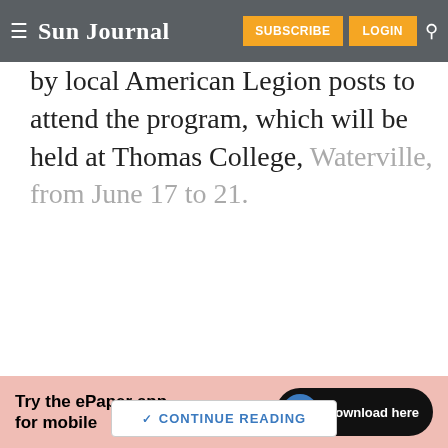Sun Journal — SUBSCRIBE  LOGIN
by local American Legion posts to attend the program, which will be held at Thomas College, Waterville, from June 17 to 21.
CONTINUE READING
[Figure (screenshot): Advertisement banner: Try the ePaper app for mobile — Download here]